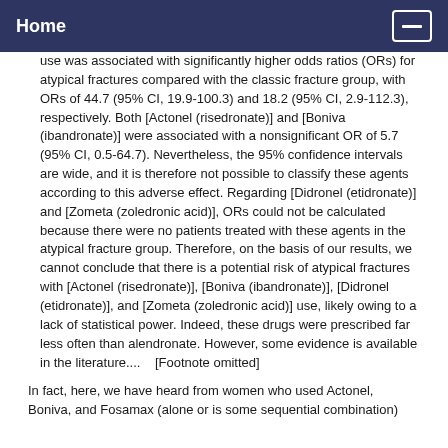Home
use was associated with significantly higher odds ratios (ORs) for atypical fractures compared with the classic fracture group, with ORs of 44.7 (95% CI, 19.9-100.3) and 18.2 (95% CI, 2.9-112.3), respectively. Both [Actonel (risedronate)] and [Boniva (ibandronate)] were associated with a nonsignificant OR of 5.7 (95% CI, 0.5-64.7). Nevertheless, the 95% confidence intervals are wide, and it is therefore not possible to classify these agents according to this adverse effect. Regarding [Didronel (etidronate)] and [Zometa (zoledronic acid)], ORs could not be calculated because there were no patients treated with these agents in the atypical fracture group. Therefore, on the basis of our results, we cannot conclude that there is a potential risk of atypical fractures with [Actonel (risedronate)], [Boniva (ibandronate)], [Didronel (etidronate)], and [Zometa (zoledronic acid)] use, likely owing to a lack of statistical power. Indeed, these drugs were prescribed far less often than alendronate. However, some evidence is available in the literature....   [Footnote omitted]
In fact, here, we have heard from women who used Actonel, Boniva, and Fosamax (alone or is some sequential combination)